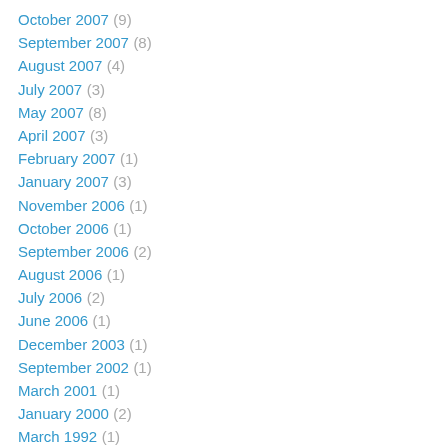October 2007 (9)
September 2007 (8)
August 2007 (4)
July 2007 (3)
May 2007 (8)
April 2007 (3)
February 2007 (1)
January 2007 (3)
November 2006 (1)
October 2006 (1)
September 2006 (2)
August 2006 (1)
July 2006 (2)
June 2006 (1)
December 2003 (1)
September 2002 (1)
March 2001 (1)
January 2000 (2)
March 1992 (1)
August 1989 (1)